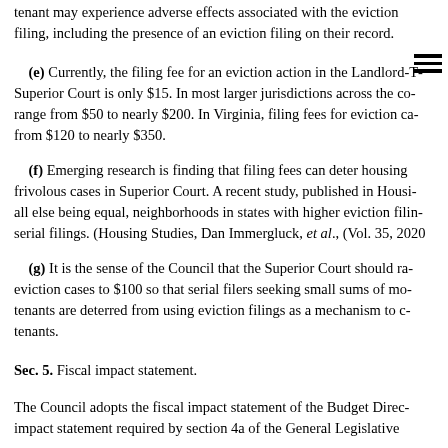tenant may experience adverse effects associated with the eviction filing, including the presence of an eviction filing on their record.
(e) Currently, the filing fee for an eviction action in the Landlord-Tenant Superior Court is only $15. In most larger jurisdictions across the country, fees range from $50 to nearly $200. In Virginia, filing fees for eviction cases range from $120 to nearly $350.
(f) Emerging research is finding that filing fees can deter housing providers from filing frivolous cases in Superior Court. A recent study, published in Housing Studies, found that, all else being equal, neighborhoods in states with higher eviction filing fees have fewer serial filings. (Housing Studies, Dan Immergluck, et al., (Vol. 35, 2020))
(g) It is the sense of the Council that the Superior Court should raise the filing fee for eviction cases to $100 so that serial filers seeking small sums of money from their tenants are deterred from using eviction filings as a mechanism to collect money from tenants.
Sec. 5. Fiscal impact statement.
The Council adopts the fiscal impact statement of the Budget Director required by the fiscal impact statement required by section 4a of the General Legislative Procedures